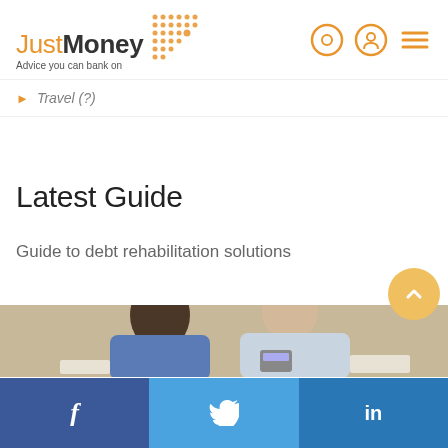[Figure (logo): JustMoney logo with orange dots pattern and tagline 'Advice you can bank on']
Travel (?)
Latest Guide
Guide to debt rehabilitation solutions
[Figure (photo): Two people sitting on floor reviewing financial documents, one holding a calculator]
[Figure (infographic): Social media footer bar with Facebook, Twitter, and LinkedIn icons]